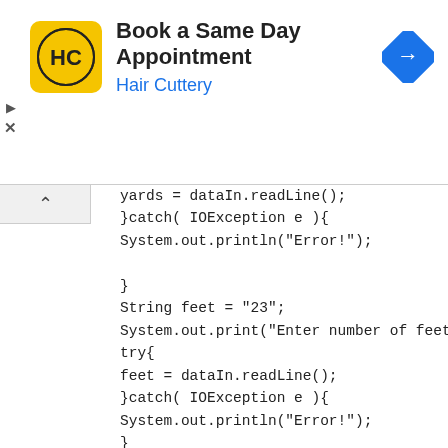[Figure (infographic): Advertisement banner for Hair Cuttery: 'Book a Same Day Appointment' with logo (HC in yellow circle) and navigation icon]
yards = dataIn.readLine();
}catch( IOException e ){
System.out.println("Error!");

}
String feet = "23";
System.out.print("Enter number of feet:");
try{
feet = dataIn.readLine();
}catch( IOException e ){
System.out.println("Error!");
}

String inches = "12.7";
System.out.print("Enter number of inches:");
try{
inches = dataIn.readLine();
}catch( IOException e ){